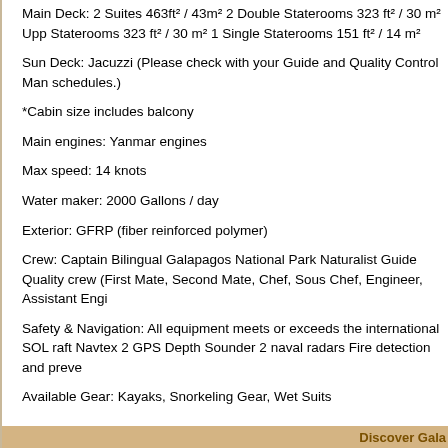Main Deck: 2 Suites 463ft² / 43m² 2 Double Staterooms 323 ft² / 30 m² Upp Staterooms 323 ft² / 30 m² 1 Single Staterooms 151 ft² / 14 m²
Sun Deck: Jacuzzi (Please check with your Guide and Quality Control Man schedules.)
*Cabin size includes balcony
Main engines: Yanmar engines
Max speed: 14 knots
Water maker: 2000 Gallons / day
Exterior: GFRP (fiber reinforced polymer)
Crew: Captain Bilingual Galapagos National Park Naturalist Guide Quality crew (First Mate, Second Mate, Chef, Sous Chef, Engineer, Assistant Engi
Safety & Navigation: All equipment meets or exceeds the international SOL raft Navtex 2 GPS Depth Sounder 2 naval radars Fire detection and preve
Available Gear: Kayaks, Snorkeling Gear, Wet Suits
Galapagos Reservations
Galapagos Islands Boats, Cruises and Yacht Charters
Discover Gala